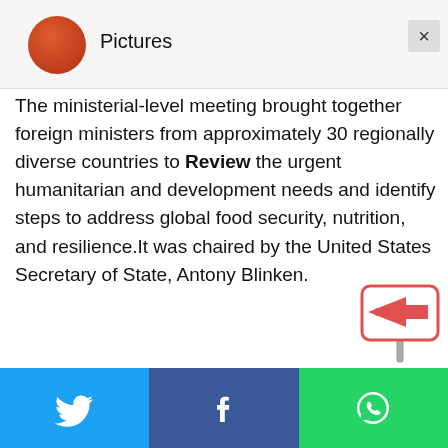[Figure (screenshot): Partial top bar with avatar/profile image circle (orange-red) and 'Pictures' label, plus a close (×) button]
The ministerial-level meeting brought together foreign ministers from approximately 30 regionally diverse countries to Review the urgent humanitarian and development needs and identify steps to address global food security, nutrition, and resilience.It was chaired by the United States Secretary of State, Antony Blinken.
[Figure (illustration): Sticker/emoji icon of a sign with an arrow pointing right]
[Figure (screenshot): Social share bar at bottom: Twitter (blue), Facebook (dark blue), WhatsApp (green) with respective icons]